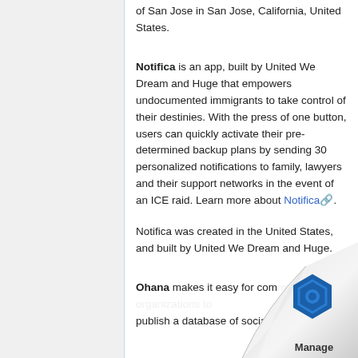of San Jose in San Jose, California, United States.
Notifica is an app, built by United We Dream and Huge that empowers undocumented immigrants to take control of their destinies. With the press of one button, users can quickly activate their pre-determined backup plans by sending 30 personalized notifications to family, lawyers and their support networks in the event of an ICE raid. Learn more about Notifica.
Notifica was created in the United States, and built by United We Dream and Huge.
Ohana makes it easy for com... publish a database of socia...
[Figure (logo): Page curl effect with a blue hexagonal logo and 'Manage' text in bottom right corner]